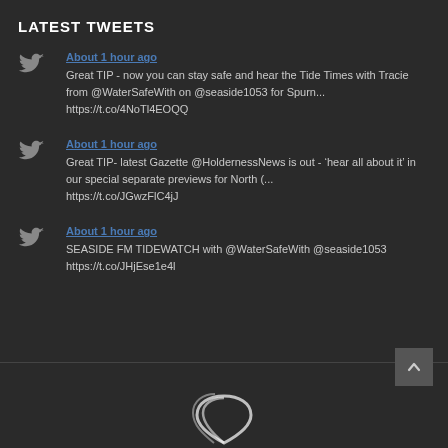LATEST TWEETS
About 1 hour ago
Great TIP - now you can stay safe and hear the Tide Times with Tracie from @WaterSafeWith on @seaside1053 for Spurn...
https://t.co/4NoTl4EOQQ
About 1 hour ago
Great TIP- latest Gazette @HoldernessNews is out - ‘hear all about it’ in our special separate previews for North (...
https://t.co/JGwzFlC4jJ
About 1 hour ago
SEASIDE FM TIDEWATCH with @WaterSafeWith @seaside1053
https://t.co/JHjEse1e4l
[Figure (logo): Seaside FM logo at bottom center, white curved lines on dark background]